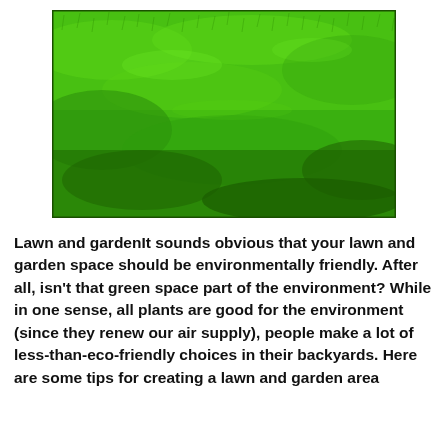[Figure (photo): A close-up photograph of a lush, bright green lawn with dense grass covering the entire frame.]
Lawn and gardenIt sounds obvious that your lawn and garden space should be environmentally friendly. After all, isn't that green space part of the environment? While in one sense, all plants are good for the environment (since they renew our air supply), people make a lot of less-than-eco-friendly choices in their backyards. Here are some tips for creating a lawn and garden area